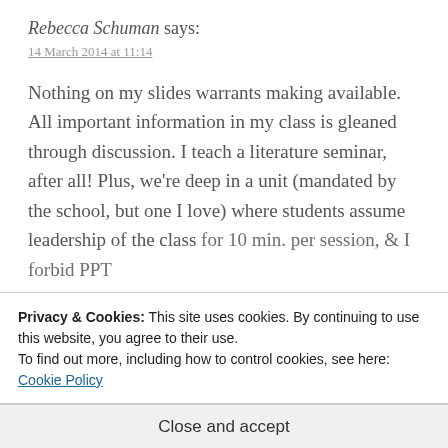Rebecca Schuman says:
14 March 2014 at 11:14
Nothing on my slides warrants making available. All important information in my class is gleaned through discussion. I teach a literature seminar, after all! Plus, we're deep in a unit (mandated by the school, but one I love) where students assume leadership of the class for 10 min. per session, & I forbid PPT
Privacy & Cookies: This site uses cookies. By continuing to use this website, you agree to their use.
To find out more, including how to control cookies, see here: Cookie Policy
Close and accept